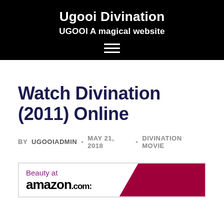Ugooi Divination
UGOOI A magical website
Watch Divination (2011) Online
BY UGOOIADMIN · MAY 21, 2018 · DIVINATION MOVIE
[Figure (other): Amazon.com advertisement banner with 'Beauty at amazon.com' text on white left panel and dark red/maroon right panel]